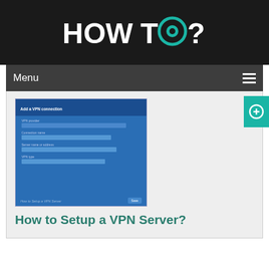HOW TO?
Menu
[Figure (screenshot): Screenshot of a VPN setup dialog window on Windows, showing 'Add a VPN connection' form with fields for VPN provider, connection name, server name, and VPN type on a blue background. Below the image is the text 'How to Setup a VPN Server?']
How to Setup a VPN Server?
Copyright © 2022 - 2023 howtosetup.co | All Rights Reserved